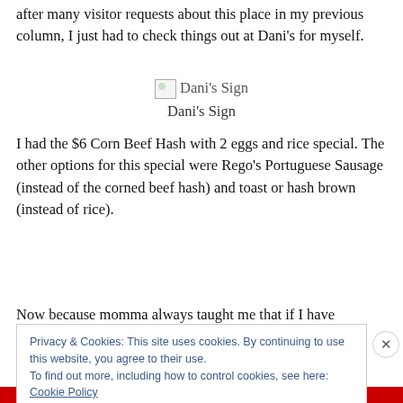after many visitor requests about this place in my previous column, I just had to check things out at Dani's for myself.
[Figure (photo): Broken image placeholder labeled 'Dani's Sign']
Dani's Sign
I had the $6 Corn Beef Hash with 2 eggs and rice special. The other options for this special were Rego's Portuguese Sausage (instead of the corned beef hash) and toast or hash brown (instead of rice).
Now because momma always taught me that if I have
Privacy & Cookies: This site uses cookies. By continuing to use this website, you agree to their use.
To find out more, including how to control cookies, see here: Cookie Policy
Close and accept